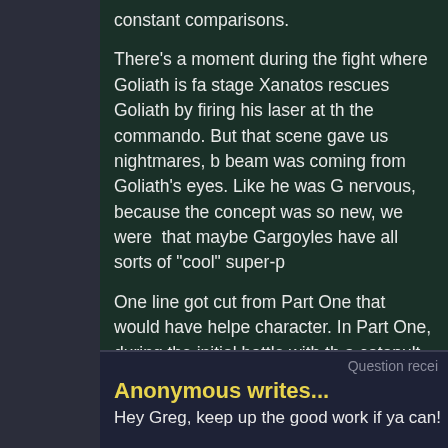constant comparisons.

There's a moment during the fight where Goliath is fa... stage Xanatos rescues Goliath by firing his laser at th... the commando. But that scene gave us nightmares, b... beam was coming from Goliath's eyes. Like he was G... nervous, because the concept was so new, we were ... that maybe Gargoyles have all sorts of "cool" super-p...

One line got cut from Part One that would have helpe... character. In Part One, during the initial battle with th... a catapult, fascinated with how it works. That little sc... time. But I still miss it.

Anyway, please feel free to post your own responses... felt when you first saw it, and what strikes you now lo...
Question recei...
Anonymous writes...
Hey Greg, keep up the good work if ya can!